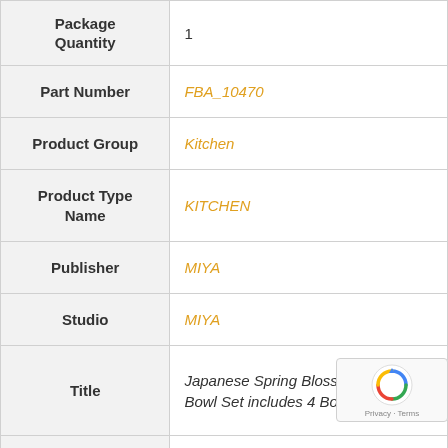| Field | Value |
| --- | --- |
| Package Quantity | 1 |
| Part Number | FBA_10470 |
| Product Group | Kitchen |
| Product Type Name | KITCHEN |
| Publisher | MIYA |
| Studio | MIYA |
| Title | Japanese Spring Blossom Flared Bowl Set includes 4 Bowls |
| UPC | 735343839771 |
|  | 735343839771 |